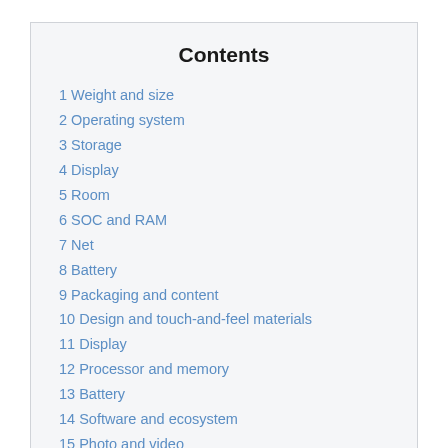Contents
1 Weight and size
2 Operating system
3 Storage
4 Display
5 Room
6 SOC and RAM
7 Net
8 Battery
9 Packaging and content
10 Design and touch-and-feel materials
11 Display
12 Processor and memory
13 Battery
14 Software and ecosystem
15 Photo and video
16 Apps and gaming